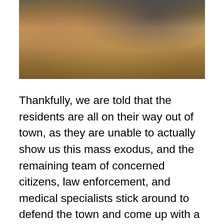[Figure (photo): A photo showing people, partially cropped at the top of the page. Warm brown and dark tones visible, appears to show people in close proximity.]
Thankfully, we are told that the residents are all on their way out of town, as they are unable to actually show us this mass exodus, and the remaining team of concerned citizens, law enforcement, and medical specialists stick around to defend the town and come up with a plan to defeat the NIGHTBEAST before he depletes all the victims of Perry Hall, Maryland, and moves on to the next hunting ground. But also, a s you might expect, a romance (fuck session) must bloom between Sheriff Cinder and Deputy Kent. That's right, after one battle with NIGHTBEAST Cinder suffers a severe injury injury to his trousers and Deputy Kent invites him over to HER place for some medical attention as well as some TLC. She yanks the